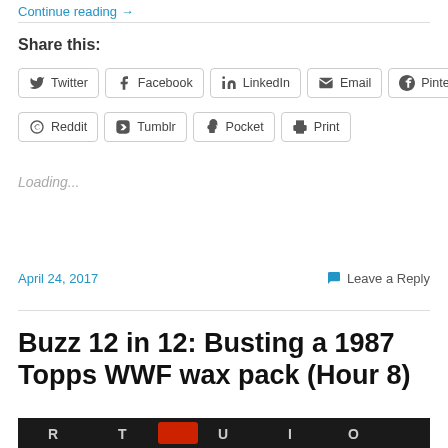Continue reading →
Share this:
Twitter
Facebook
LinkedIn
Email
Pinterest
Reddit
Tumblr
Pocket
Print
Loading...
April 24, 2017
Leave a Reply
Buzz 12 in 12: Busting a 1987 Topps WWF wax pack (Hour 8)
[Figure (photo): Keyboard image preview at bottom of page]